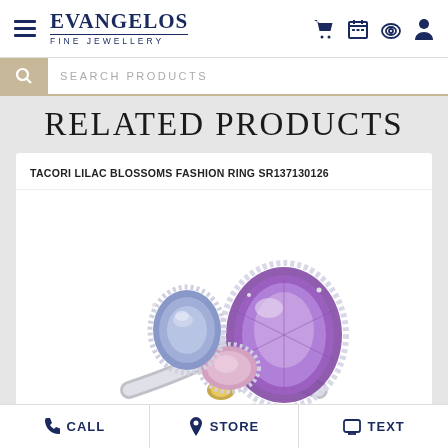EVANGELOS FINE JEWELLERY
RELATED PRODUCTS
TACORI LILAC BLOSSOMS FASHION RING SR137130126
[Figure (photo): Photo of a Tacori Lilac Blossoms fashion ring featuring multiple gemstones including a large purple/amethyst stone and a blue stone, set in silver with diamond accents and a gold detail]
CALL  STORE  TEXT